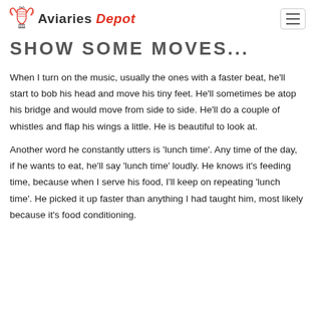Aviaries Depot
SHOW SOME MOVES...
When I turn on the music, usually the ones with a faster beat, he'll start to bob his head and move his tiny feet. He'll sometimes be atop his bridge and would move from side to side. He'll do a couple of whistles and flap his wings a little. He is beautiful to look at.
Another word he constantly utters is 'lunch time'. Any time of the day, if he wants to eat, he'll say 'lunch time' loudly. He knows it's feeding time, because when I serve his food, I'll keep on repeating 'lunch time'. He picked it up faster than anything I had taught him, most likely because it's food conditioning.